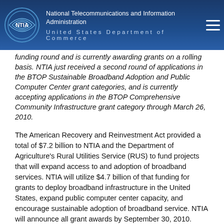National Telecommunications and Information Administration
United States Department of Commerce
funding round and is currently awarding grants on a rolling basis. NTIA just received a second round of applications in the BTOP Sustainable Broadband Adoption and Public Computer Center grant categories, and is currently accepting applications in the BTOP Comprehensive Community Infrastructure grant category through March 26, 2010.
The American Recovery and Reinvestment Act provided a total of $7.2 billion to NTIA and the Department of Agriculture's Rural Utilities Service (RUS) to fund projects that will expand access to and adoption of broadband services. NTIA will utilize $4.7 billion of that funding for grants to deploy broadband infrastructure in the United States, expand public computer center capacity, and encourage sustainable adoption of broadband service. NTIA will announce all grant awards by September 30, 2010.
###
(Fact sheets with further information about all BTOP grants are available on the NTIA web site here: Grants Awarded